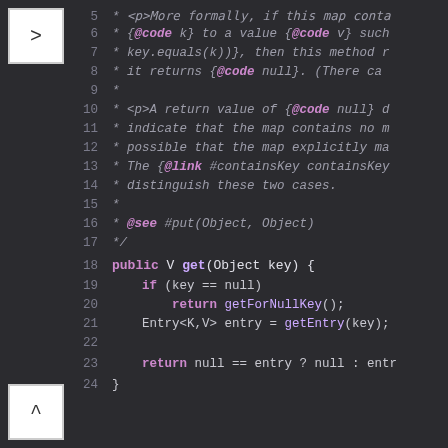[Figure (screenshot): Code editor screenshot showing Java source code with line numbers 5-24. Dark background theme. Lines 5-17 are Javadoc comments (italic, grey/muted). Line 18 shows 'public V get(Object key) {'. Lines 19-23 show method body. Navigation buttons (> and ^) visible on left side.]